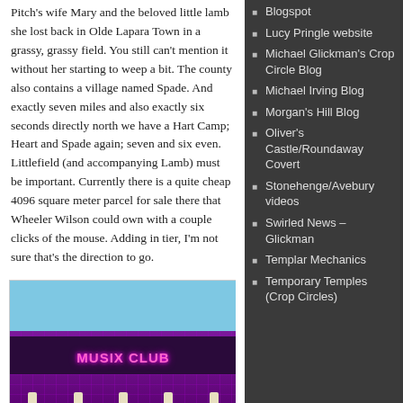Pitch's wife Mary and the beloved little lamb she lost back in Olde Lapara Town in a grassy, grassy field. You still can't mention it without her starting to weep a bit. The county also contains a village named Spade. And exactly seven miles and also exactly six seconds directly north we have a Hart Camp; Heart and Spade again; seven and six even. Littlefield (and accompanying Lamb) must be important. Currently there is a quite cheap 4096 square meter parcel for sale there that Wheeler Wilson could own with a couple clicks of the mouse. Adding in tier, I'm not sure that's the direction to go.
[Figure (photo): A virtual world building labeled 'MUSIX CLUB' with a purple grid-patterned facade, dark roof, and columns at the bottom, against a blue sky background.]
Blogspot
Lucy Pringle website
Michael Glickman's Crop Circle Blog
Michael Irving Blog
Morgan's Hill Blog
Oliver's Castle/Roundaway Covert
Stonehenge/Avebury videos
Swirled News – Glickman
Templar Mechanics
Temporary Temples (Crop Circles)